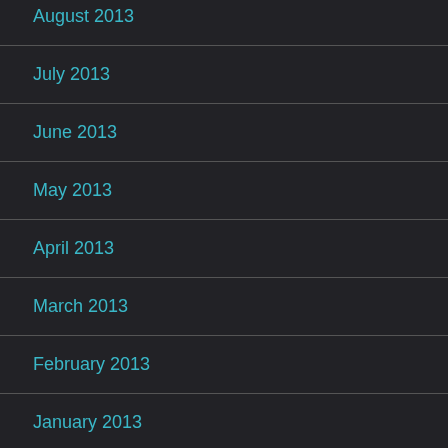August 2013
July 2013
June 2013
May 2013
April 2013
March 2013
February 2013
January 2013
December 2012